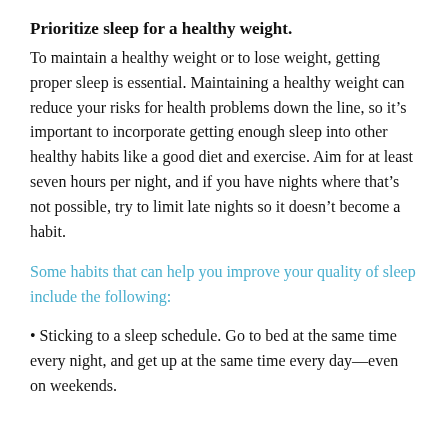Prioritize sleep for a healthy weight.
To maintain a healthy weight or to lose weight, getting proper sleep is essential. Maintaining a healthy weight can reduce your risks for health problems down the line, so it’s important to incorporate getting enough sleep into other healthy habits like a good diet and exercise. Aim for at least seven hours per night, and if you have nights where that’s not possible, try to limit late nights so it doesn’t become a habit.
Some habits that can help you improve your quality of sleep include the following:
Sticking to a sleep schedule. Go to bed at the same time every night, and get up at the same time every day—even on weekends.